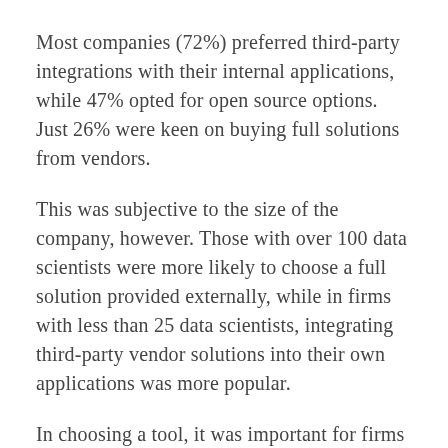Most companies (72%) preferred third-party integrations with their internal applications, while 47% opted for open source options. Just 26% were keen on buying full solutions from vendors.
This was subjective to the size of the company, however. Those with over 100 data scientists were more likely to choose a full solution provided externally, while in firms with less than 25 data scientists, integrating third-party vendor solutions into their own applications was more popular.
In choosing a tool, it was important for firms to take a “modular” approach, to create solutions that are unique to their needs. This means firms will need to “build a mindset of being multi-platform,” and leverage interoperable and transparent data capabilities.
Conc...